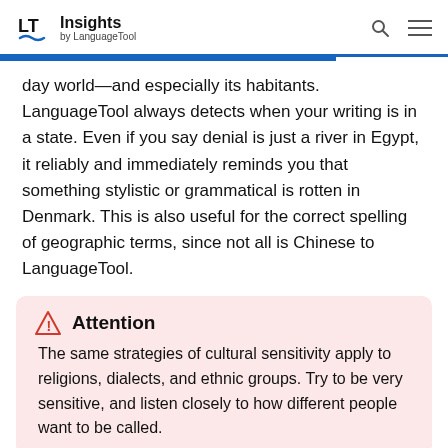Insights by LanguageTool
day world—and especially its habitants. LanguageTool always detects when your writing is in a state. Even if you say denial is just a river in Egypt, it reliably and immediately reminds you that something stylistic or grammatical is rotten in Denmark. This is also useful for the correct spelling of geographic terms, since not all is Chinese to LanguageTool.
Attention
The same strategies of cultural sensitivity apply to religions, dialects, and ethnic groups. Try to be very sensitive, and listen closely to how different people want to be called.